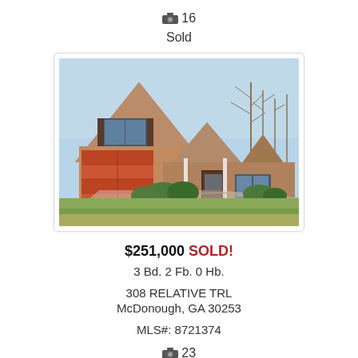📷 16
Sold
[Figure (photo): Exterior photo of a single-story craftsman-style brick and wood home with a peaked roof, red two-car garage door, covered front porch, and landscaped yard with bare trees in background.]
$251,000 SOLD!
3 Bd. 2 Fb. 0 Hb.
308 RELATIVE TRL
McDonough, GA 30253
MLS#: 8721374
📷 23